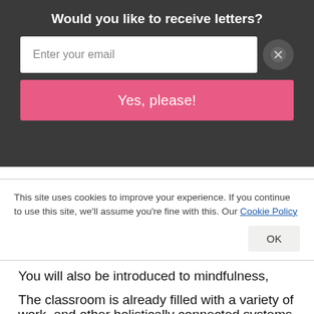Would you like to receive letters?
Enter your email
Yes, please!
cards more intuitively, journal using your intuitive insights, and even take it a step further and use the cards to spark your creative practices!

You will also be introduced to mindfulness, energetics, numerology, meditation, breath work, and other holistically connected systems that will help you to cultivate a deeper understanding of who you are so you can navigate the world more confidently.
This site uses cookies to improve your experience. If you continue to use this site, we'll assume you're fine with this. Our Cookie Policy
OK
The classroom is already filled with a variety of